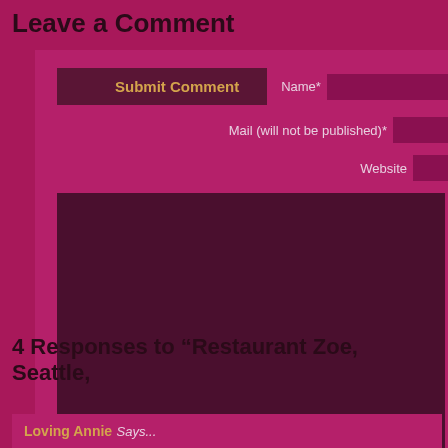Leave a Comment
[Figure (screenshot): Comment form with Submit Comment button, Name*, Mail (will not be published)*, and Website fields, plus a large text area for comment input]
4 Responses to “Restaurant Zoe, Seattle,
Loving Annie Says...